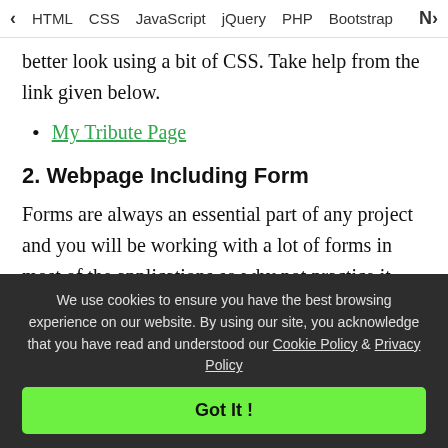< HTML   CSS   JavaScript   jQuery   PHP   Bootstrap   N>
better look using a bit of CSS. Take help from the link given below.
My Tribute Page
2. Webpage Including Form
Forms are always an essential part of any project and you will be working with a lot of forms in most of the applications so why not practice it earlier and test your knowledge. Once you get familiar
We use cookies to ensure you have the best browsing experience on our website. By using our site, you acknowledge that you have read and understood our Cookie Policy & Privacy Policy
Got It !